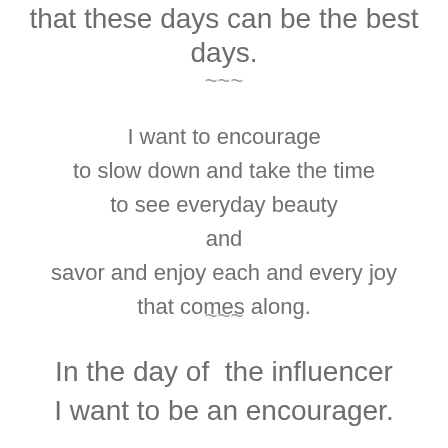that these days can be the best days.
~~~
I want to encourage
to slow down and take the time
to see everyday beauty
and
savor and enjoy each and every joy
that comes along.
~~~
In the day of  the influencer
I want to be an encourager.